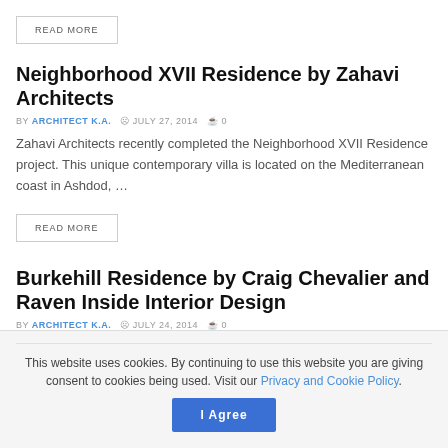READ MORE
Neighborhood XVII Residence by Zahavi Architects
BY ARCHITECT K.A.  JULY 27, 2014  0
Zahavi Architects recently completed the Neighborhood XVII Residence project. This unique contemporary villa is located on the Mediterranean coast in Ashdod, …
READ MORE
Burkehill Residence by Craig Chevalier and Raven Inside Interior Design
BY ARCHITECT K.A.  JULY 24, 2014  0
This website uses cookies. By continuing to use this website you are giving consent to cookies being used. Visit our Privacy and Cookie Policy.